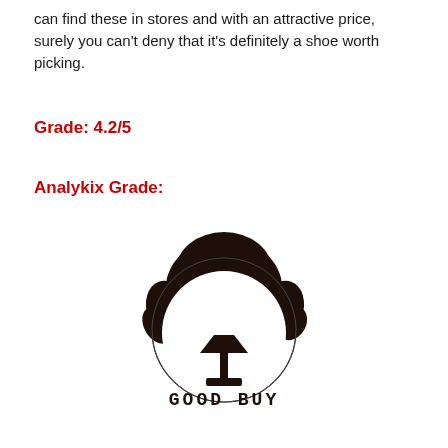can find these in stores and with an attractive price, surely you can't deny that it's definitely a shoe worth picking.
Grade: 4.2/5
Analykix Grade:
[Figure (logo): Analykix logo: silhouette of a person with flowing dark hair forming the top of a circle, a martini glass shape at the bottom center, and the text 'GOOD BUY' in a dotted/pixel font below.]